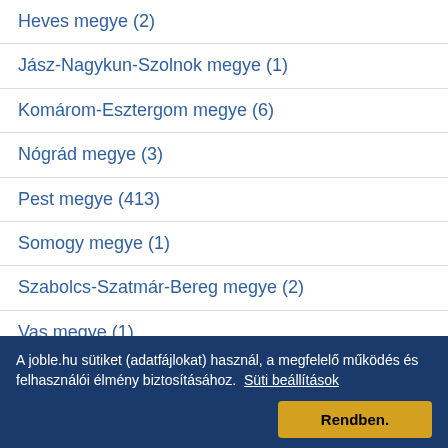Heves megye (2)
Jász-Nagykun-Szolnok megye (1)
Komárom-Esztergom megye (6)
Nógrád megye (3)
Pest megye (413)
Somogy megye (1)
Szabolcs-Szatmár-Bereg megye (2)
Vas megye (1)
Veszprém megye (2)
Zala megye (3)
A joble.hu sütiket (adatfájlokat) használ, a megfelelő működés és felhasználói élmény biztosításához. Süti beállítások Rendben.